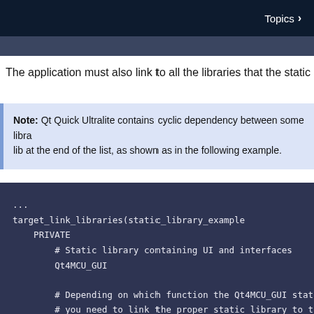Topics >
The application must also link to all the libraries that the static library link
Note: Qt Quick Ultralite contains cyclic dependency between some libra... lib at the end of the list, as shown as in the following example.
...
target_link_libraries(static_library_example
    PRIVATE
        # Static library containing UI and interfaces
        Qt4MCU_GUI

        # Depending on which function the Qt4MCU_GUI stati
        # you need to link the proper static library to th
        # In this example list of the libraries which are
        # CMake variables configuration are described. Jus
        # apply to your setup. Config which applies to thi

        # Font engines: